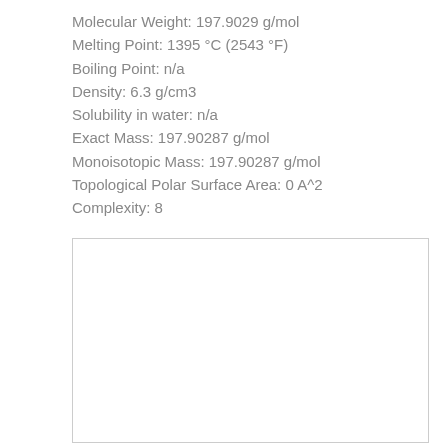Molecular Weight: 197.9029 g/mol
Melting Point: 1395 °C (2543 °F)
Boiling Point: n/a
Density: 6.3 g/cm3
Solubility in water: n/a
Exact Mass: 197.90287 g/mol
Monoisotopic Mass: 197.90287 g/mol
Topological Polar Surface Area: 0 A^2
Complexity: 8
[Figure (other): Empty white box with light gray border, likely placeholder for molecular structure diagram]